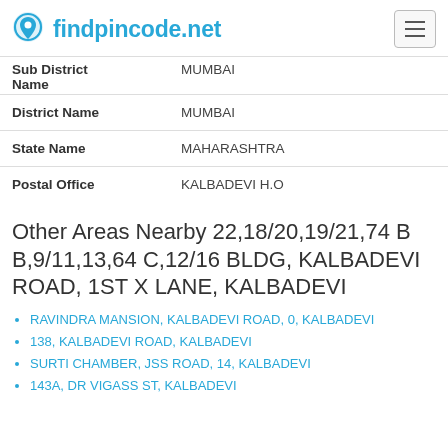findpincode.net
| Sub District Name | MUMBAI |
| District Name | MUMBAI |
| State Name | MAHARASHTRA |
| Postal Office | KALBADEVI H.O |
Other Areas Nearby 22,18/20,19/21,74 B B,9/11,13,64 C,12/16 BLDG, KALBADEVI ROAD, 1ST X LANE, KALBADEVI
RAVINDRA MANSION, KALBADEVI ROAD, 0, KALBADEVI
138, KALBADEVI ROAD, KALBADEVI
SURTI CHAMBER, JSS ROAD, 14, KALBADEVI
143A, DR VIGASS ST, KALBADEVI